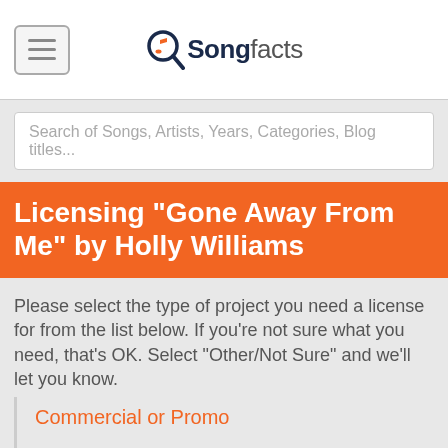Songfacts
Search of Songs, Artists, Years, Categories, Blog titles...
Licensing "Gone Away From Me" by Holly Williams
Please select the type of project you need a license for from the list below. If you're not sure what you need, that's OK. Select "Other/Not Sure" and we'll let you know.
Commercial or Promo
Television Show
Film
Wedding Video
App or Video Game/VR